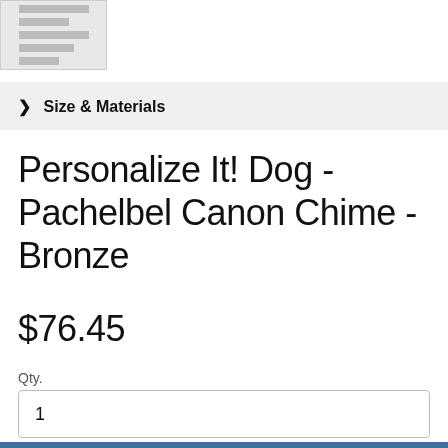[Figure (photo): Partial product thumbnail image in top left corner]
Size & Materials
Personalize It! Dog - Pachelbel Canon Chime - Bronze
$76.45
Qty.
1